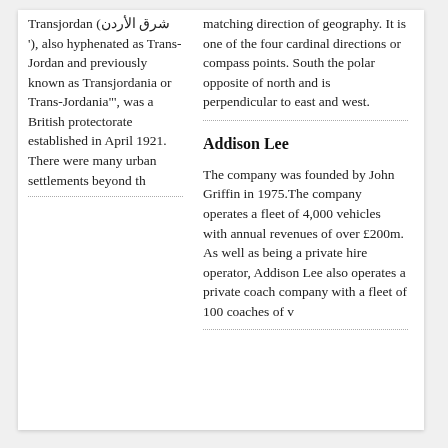Transjordan (شرق الأردن '), also hyphenated as Trans-Jordan and previously known as Transjordania or Trans-Jordania"', was a British protectorate established in April 1921. There were many urban settlements beyond th
matching direction of geography. It is one of the four cardinal directions or compass points. South the polar opposite of north and is perpendicular to east and west.
Addison Lee
The company was founded by John Griffin in 1975.The company operates a fleet of 4,000 vehicles with annual revenues of over £200m. As well as being a private hire operator, Addison Lee also operates a private coach company with a fleet of 100 coaches of v